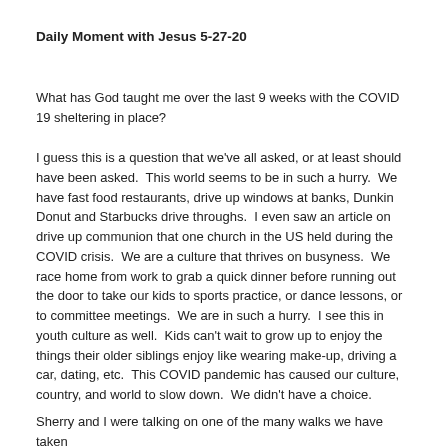Daily Moment with Jesus 5-27-20
What has God taught me over the last 9 weeks with the COVID 19 sheltering in place?
I guess this is a question that we've all asked, or at least should have been asked.  This world seems to be in such a hurry.  We have fast food restaurants, drive up windows at banks, Dunkin Donut and Starbucks drive throughs.  I even saw an article on drive up communion that one church in the US held during the COVID crisis.  We are a culture that thrives on busyness.  We race home from work to grab a quick dinner before running out the door to take our kids to sports practice, or dance lessons, or to committee meetings.  We are in such a hurry.  I see this in youth culture as well.  Kids can't wait to grow up to enjoy the things their older siblings enjoy like wearing make-up, driving a car, dating, etc.  This COVID pandemic has caused our culture, country, and world to slow down.  We didn't have a choice.
Sherry and I were talking on one of the many walks we have taken